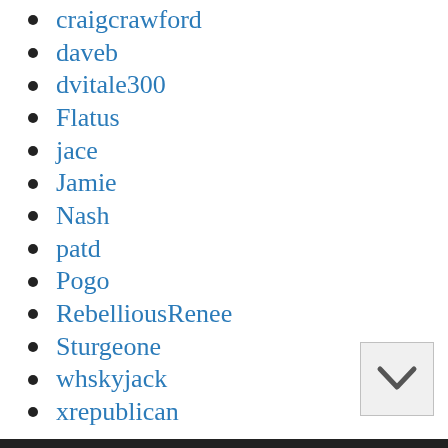craigcrawford
daveb
dvitale300
Flatus
jace
Jamie
Nash
patd
Pogo
RebelliousRenee
Sturgeone
whskyjack
xrepublican